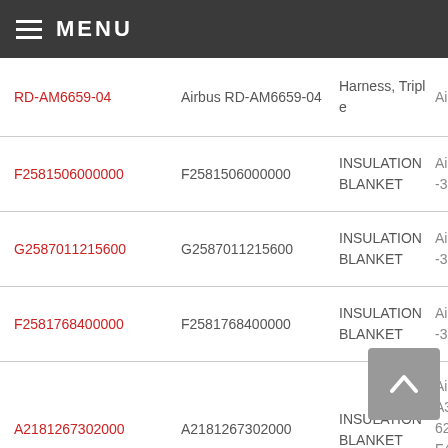MENU
| ID | Number | Description | Manufacturer |
| --- | --- | --- | --- |
| RD-AM6659-04 | Airbus RD-AM6659-04 | Harness, Triple | Airb... |
| F2581506000000 | F2581506000000 | INSULATION BLANKET | Airb... -31... |
| G2587011215600 | G2587011215600 | INSULATION BLANKET | Airb... -31... |
| F2581768400000 | F2581768400000 | INSULATION BLANKET | Airb... -31... |
| A2181267302000 | A2181267302000 | INSULATION BLANKET | Airb... A30... 622... F4-... 605... |